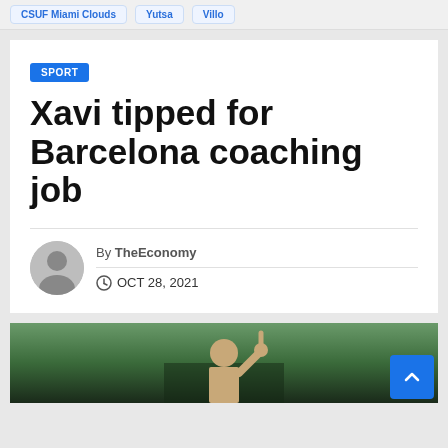CSUF Miami Clouds / Yutsa / Villo
SPORT
Xavi tipped for Barcelona coaching job
By TheEconomy
OCT 28, 2021
[Figure (photo): Photo of Xavi at the bottom of the article]